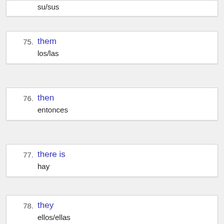74. su/sus
75. them / los/las
76. then / entonces
77. there is / hay
78. they / ellos/ellas
79. thing